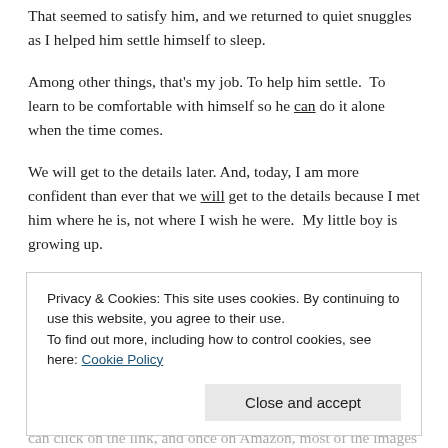That seemed to satisfy him, and we returned to quiet snuggles as I helped him settle himself to sleep.
Among other things, that's my job. To help him settle. To learn to be comfortable with himself so he can do it alone when the time comes.
We will get to the details later. And, today, I am more confident than ever that we will get to the details because I met him where he is, not where I wish he were. My little boy is growing up.
“Sex is fun, and it’s good for you.”  Yep. I’m that mom.
Privacy & Cookies: This site uses cookies. By continuing to use this website, you agree to their use.
To find out more, including how to control cookies, see here: Cookie Policy
Close and accept
can click on the link, and once on Amazon, most of the images